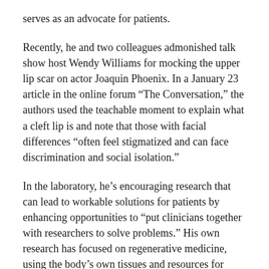serves as an advocate for patients.
Recently, he and two colleagues admonished talk show host Wendy Williams for mocking the upper lip scar on actor Joaquin Phoenix. In a January 23 article in the online forum “The Conversation,” the authors used the teachable moment to explain what a cleft lip is and note that those with facial differences “often feel stigmatized and can face discrimination and social isolation.”
In the laboratory, he’s encouraging research that can lead to workable solutions for patients by enhancing opportunities to “put clinicians together with researchers to solve problems.” His own research has focused on regenerative medicine, using the body’s own tissues and resources for healing, including work on bone scaffolding and bone tissue engineering.
One promising innovation is the use of resorbable metal magnesium to promote bone regeneration in facial surgery.